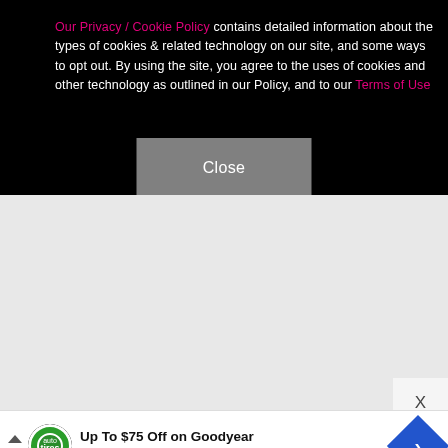Our Privacy / Cookie Policy contains detailed information about the types of cookies & related technology on our site, and some ways to opt out. By using the site, you agree to the uses of cookies and other technology as outlined in our Policy, and to our Terms of Use
[Figure (screenshot): Close button — gray rectangular button with white text 'Close']
[Figure (screenshot): Gray content area below the cookie banner overlay]
[Figure (screenshot): Dismiss/close X button in lower right corner]
Up To $75 Off on Goodyear Tires at Virginia Tire & Auto